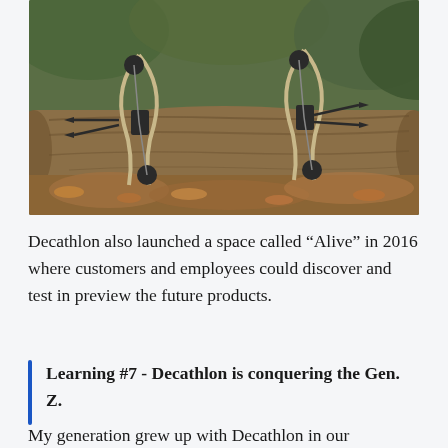[Figure (photo): Two compound bows propped against a fallen log in a forest setting with autumn leaves on the ground]
Decathlon also launched a space called “Alive” in 2016 where customers and employees could discover and test in preview the future products.
Learning #7 - Decathlon is conquering the Gen. Z.
My generation grew up with Decathlon in our